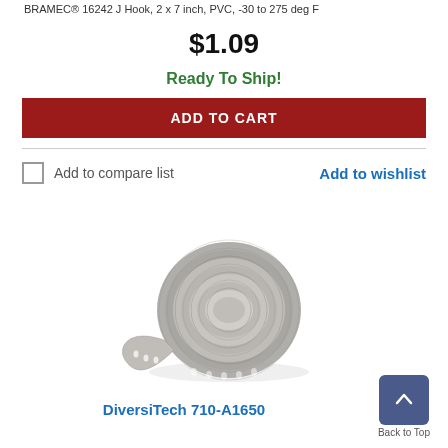BRAMEC® 16242 J Hook, 2 x 7 inch, PVC, -30 to 275 deg F
$1.09
Ready To Ship!
ADD TO CART
Add to compare list
Add to wishlist
[Figure (photo): A roll of metallic/silver perforated strapping tape coiled into a circle, shown on white background.]
DiversiTech 710-A1650
Back to Top